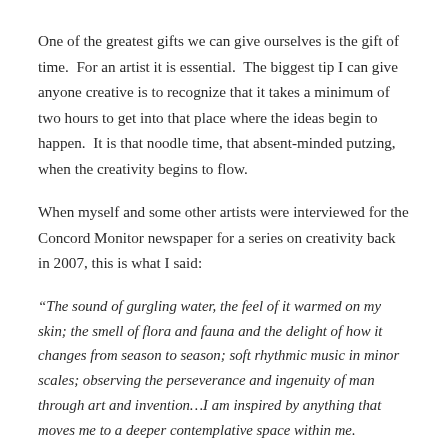One of the greatest gifts we can give ourselves is the gift of time.  For an artist it is essential.  The biggest tip I can give anyone creative is to recognize that it takes a minimum of two hours to get into that place where the ideas begin to happen.  It is that noodle time, that absent-minded putzing, when the creativity begins to flow.
When myself and some other artists were interviewed for the Concord Monitor newspaper for a series on creativity back in 2007, this is what I said:
“The sound of gurgling water, the feel of it warmed on my skin; the smell of flora and fauna and the delight of how it changes from season to season; soft rhythmic music in minor scales; observing the perseverance and ingenuity of man through art and invention…I am inspired by anything that moves me to a deeper contemplative space within me.